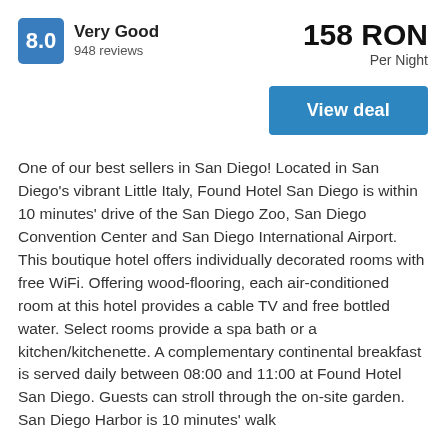8.0
Very Good
948 reviews
158 RON
Per Night
View deal
One of our best sellers in San Diego! Located in San Diego's vibrant Little Italy, Found Hotel San Diego is within 10 minutes' drive of the San Diego Zoo, San Diego Convention Center and San Diego International Airport. This boutique hotel offers individually decorated rooms with free WiFi. Offering wood-flooring, each air-conditioned room at this hotel provides a cable TV and free bottled water. Select rooms provide a spa bath or a kitchen/kitchenette. A complementary continental breakfast is served daily between 08:00 and 11:00 at Found Hotel San Diego. Guests can stroll through the on-site garden. San Diego Harbor is 10 minutes' walk